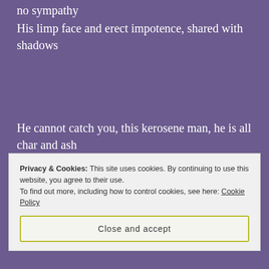no sympathy
His limp face and erect impotence, shared with shadows
He cannot catch you, this kerosene man, he is all char and ash
Whilst you, you have been reminded why you went
Privacy & Cookies: This site uses cookies. By continuing to use this website, you agree to their use. To find out more, including how to control cookies, see here: Cookie Policy
Close and accept